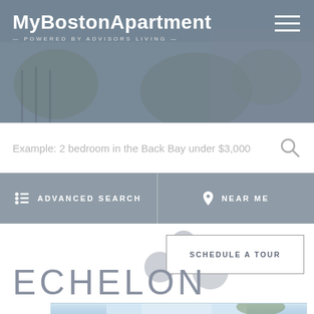MyBostonApartment — POWERED BY ADVISORS LIVING —
Example: 2 bedroom in the Back Bay under $3,000
ADVANCED SEARCH
NEAR ME
SCHEDULE A TOUR
ECHELON
[Figure (photo): Aerial/street view of modern glass high-rise apartment building (Echelon) with blue sky background]